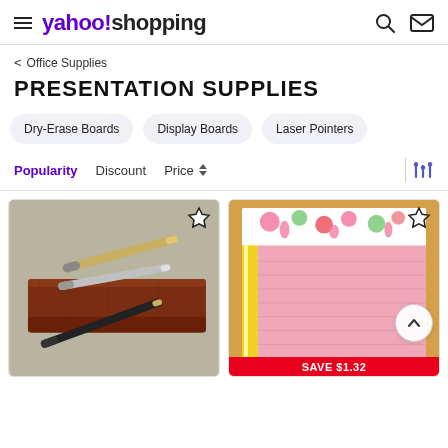yahoo!shopping
< Office Supplies
PRESENTATION SUPPLIES
Dry-Erase Boards
Display Boards
Laser Pointers
Popularity  Discount  Price
[Figure (photo): Laser pointer pen set in wooden display box — two silver/gold pens and one black pen on a dark wood base]
[Figure (photo): Colorful notepad with tropical flamingo and fruit design border on tan/brown backing, pink pages with yellow stripe accent. Red badge: SAVE $1.32]